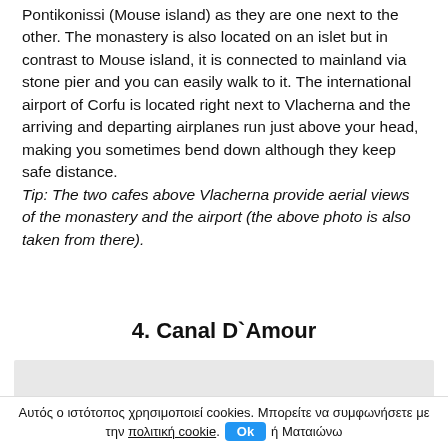Pontikonissi (Mouse island) as they are one next to the other. The monastery is also located on an islet but in contrast to Mouse island, it is connected to mainland via stone pier and you can easily walk to it. The international airport of Corfu is located right next to Vlacherna and the arriving and departing airplanes run just above your head, making you sometimes bend down although they keep safe distance.
Tip: The two cafes above Vlacherna provide aerial views of the monastery and the airport (the above photo is also taken from there).
4. Canal D`Amour
[Figure (photo): Partial photo/image placeholder (light grey box), partially visible at the bottom of the page]
Αυτός ο ιστότοπος χρησιμοποιεί cookies. Μπορείτε να συμφωνήσετε με την πολιτική cookie. Ok ή Ματαιώνω